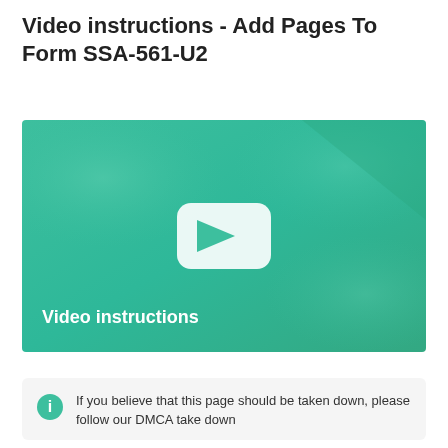Video instructions - Add Pages To Form SSA-561-U2
[Figure (screenshot): Video thumbnail with teal/green gradient background, white YouTube-style play button in center, and white bold text 'Video instructions' in lower left corner]
If you believe that this page should be taken down, please follow our DMCA take down